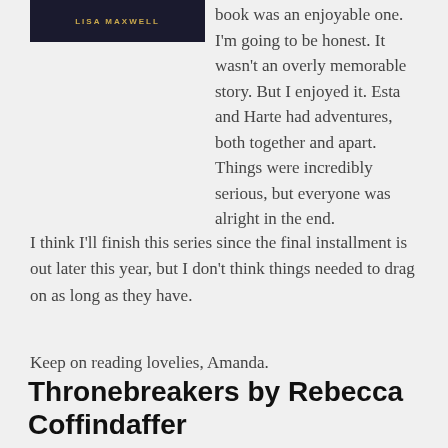[Figure (illustration): Book cover image showing 'LISA MAXWELL' text in gold letters on a dark background]
book was an enjoyable one. I'm going to be honest. It wasn't an overly memorable story. But I enjoyed it. Esta and Harte had adventures, both together and apart. Things were incredibly serious, but everyone was alright in the end.
I think I'll finish this series since the final installment is out later this year, but I don't think things needed to drag on as long as they have.
Keep on reading lovelies, Amanda.
Thronebreakers by Rebecca Coffindaffer